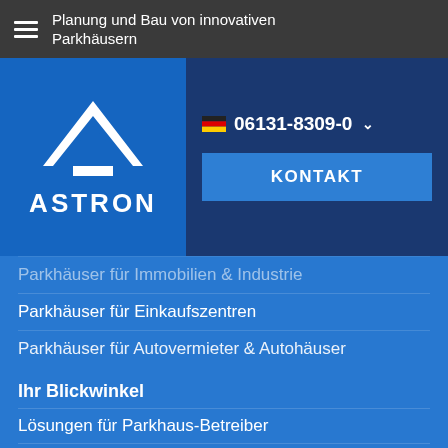Planung und Bau von innovativen Parkhäusern
[Figure (logo): ASTRON logo with white triangular roof/arch shape above text ASTRON on blue background]
06131-8309-0
KONTAKT
Parkhäuser für Immobilien & Industrie
Parkhäuser für Einkaufszentren
Parkhäuser für Autovermieter & Autohäuser
Ihr Blickwinkel
Lösungen für Parkhaus-Betreiber
Lösungen für Architekten
Lösungen für Bauunternehmen
Lösungen für Planungsbüros
Lösungen für Investoren